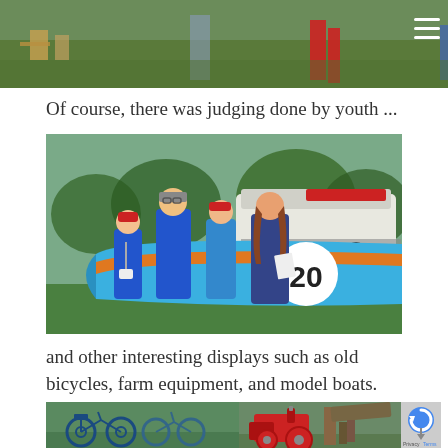[Figure (photo): Partial top image showing people on grass with lawn chairs, a red-suited person, and green grass background. Cropped at top of page.]
Of course, there was judging done by youth ...
[Figure (photo): Group of people wearing blue shirts and red caps standing next to a blue and orange racing boat numbered 20 on a trailer, outdoors on green grass.]
and other interesting displays such as old bicycles, farm equipment, and model boats.
[Figure (photo): Bottom row showing: left - old vintage bicycles on grass; right - red antique tractor/farm equipment; small badge/reCAPTCHA icon at far right.]